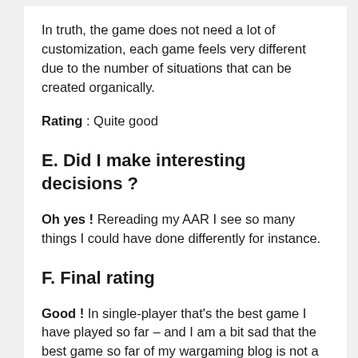In truth, the game does not need a lot of customization, each game feels very different due to the number of situations that can be created organically.
Rating : Quite good
E. Did I make interesting decisions ?
Oh yes ! Rereading my AAR I see so many things I could have done differently for instance.
F. Final rating
Good ! In single-player that's the best game I have played so far – and I am a bit sad that the best game so far of my wargaming blog is not a wargame. At least it